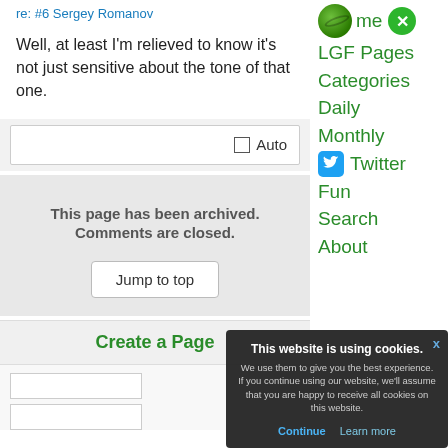re: #6 Sergey Romanov
Well, at least I'm relieved to know it's not just sensitive about the tone of that one.
Auto
This page has been archived. Comments are closed.
Jump to top
Create a Page
Home
LGF Pages
Categories
Daily
Monthly
Twitter
Fun
Search
About
This website is using cookies. We use them to give you the best experience. If you continue using our website, we'll assume that you are happy to receive all cookies on this website.
Continue
Learn more